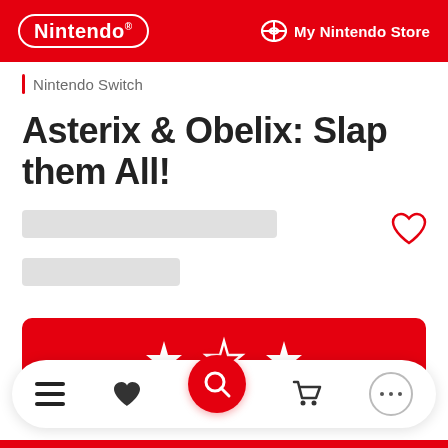Nintendo | My Nintendo Store
Nintendo Switch
Asterix & Obelix: Slap them All!
[Figure (screenshot): Red action button with three star icons]
[Figure (screenshot): Bottom navigation bar with menu, heart, search, cart, and dots icons]